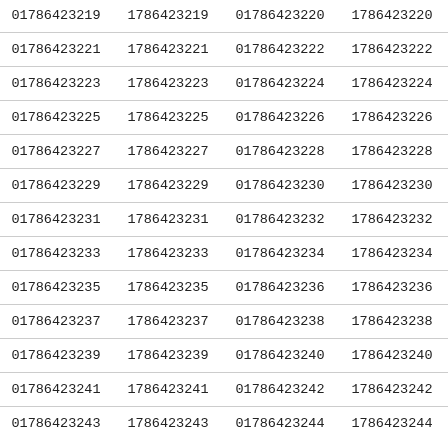| 01786423219 | 1786423219 | 01786423220 | 1786423220 |
| 01786423221 | 1786423221 | 01786423222 | 1786423222 |
| 01786423223 | 1786423223 | 01786423224 | 1786423224 |
| 01786423225 | 1786423225 | 01786423226 | 1786423226 |
| 01786423227 | 1786423227 | 01786423228 | 1786423228 |
| 01786423229 | 1786423229 | 01786423230 | 1786423230 |
| 01786423231 | 1786423231 | 01786423232 | 1786423232 |
| 01786423233 | 1786423233 | 01786423234 | 1786423234 |
| 01786423235 | 1786423235 | 01786423236 | 1786423236 |
| 01786423237 | 1786423237 | 01786423238 | 1786423238 |
| 01786423239 | 1786423239 | 01786423240 | 1786423240 |
| 01786423241 | 1786423241 | 01786423242 | 1786423242 |
| 01786423243 | 1786423243 | 01786423244 | 1786423244 |